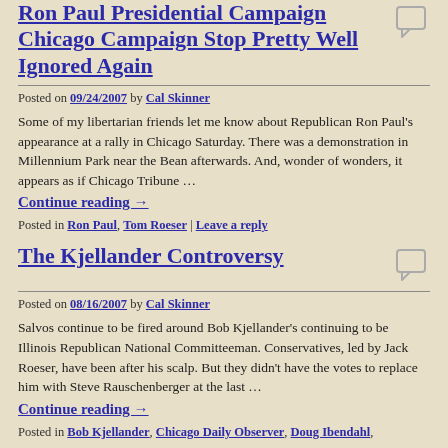Ron Paul Presidential Campaign Chicago Campaign Stop Pretty Well Ignored Again
Posted on 09/24/2007 by Cal Skinner
Some of my libertarian friends let me know about Republican Ron Paul's appearance at a rally in Chicago Saturday. There was a demonstration in Millennium Park near the Bean afterwards. And, wonder of wonders, it appears as if Chicago Tribune …
Continue reading →
Posted in Ron Paul, Tom Roeser | Leave a reply
The Kjellander Controversy
Posted on 08/16/2007 by Cal Skinner
Salvos continue to be fired around Bob Kjellander's continuing to be Illinois Republican National Committeeman. Conservatives, led by Jack Roeser, have been after his scalp. But they didn't have the votes to replace him with Steve Rauschenberger at the last …
Continue reading →
Posted in Bob Kjellander, Chicago Daily Observer, Doug Ibendahl,